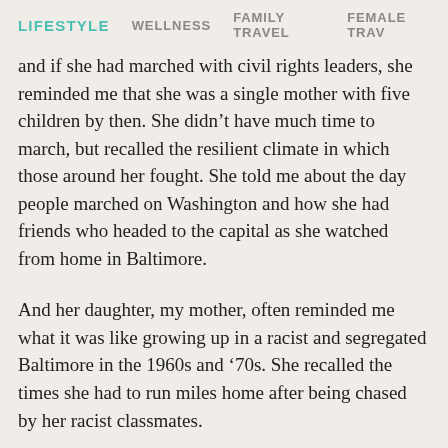LIFESTYLE  WELLNESS  FAMILY TRAVEL  FEMALE TRAV
and if she had marched with civil rights leaders, she reminded me that she was a single mother with five children by then. She didn't have much time to march, but recalled the resilient climate in which those around her fought. She told me about the day people marched on Washington and how she had friends who headed to the capital as she watched from home in Baltimore.
And her daughter, my mother, often reminded me what it was like growing up in a racist and segregated Baltimore in the 1960s and ‘70s. She recalled the times she had to run miles home after being chased by her racist classmates.